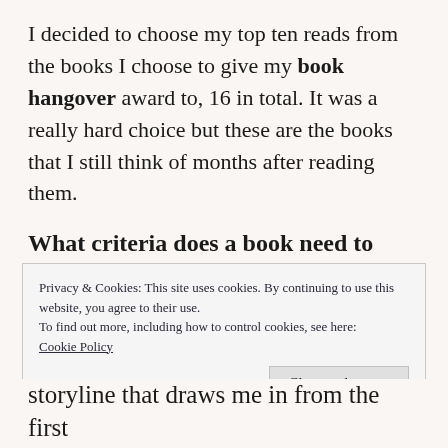I decided to choose my top ten reads from the books I choose to give my book hangover award to, 16 in total. It was a really hard choice but these are the books that I still think of months after reading them.
What criteria does a book need to meet to win my book hangover award?
Privacy & Cookies: This site uses cookies. By continuing to use this website, you agree to their use.
To find out more, including how to control cookies, see here: Cookie Policy
storyline that draws me in from the first